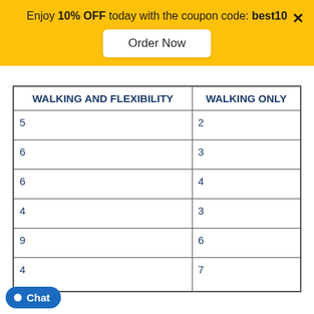Enjoy 10% OFF today with the coupon code: best10
Order Now
| WALKING AND FLEXIBILITY | WALKING ONLY |
| --- | --- |
| 5 | 2 |
| 6 | 3 |
| 6 | 4 |
| 4 | 3 |
| 9 | 6 |
| 4 | 7 |